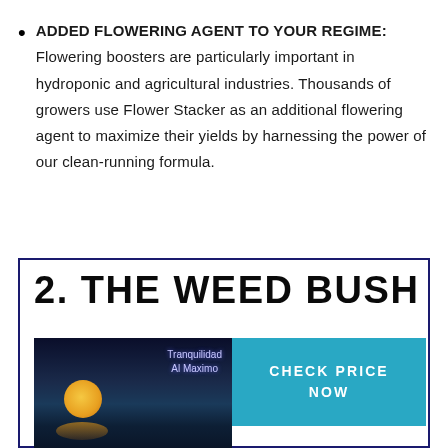ADDED FLOWERING AGENT TO YOUR REGIME: Flowering boosters are particularly important in hydroponic and agricultural industries. Thousands of growers use Flower Stacker as an additional flowering agent to maximize their yields by harnessing the power of our clean-running formula.
2. THE WEED BUSH
[Figure (photo): Night scene with full moon over ocean water, text overlay reading 'Tranquilidad Al Maximo']
CHECK PRICE NOW